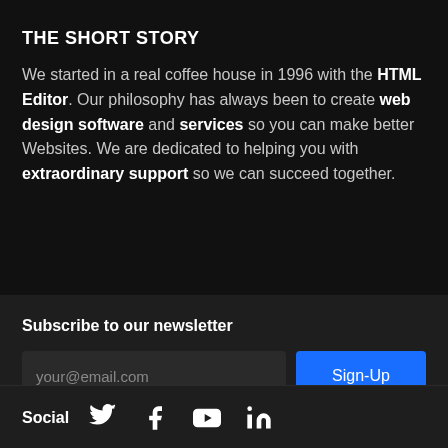THE SHORT STORY
We started in a real coffee house in 1996 with the HTML Editor. Our philosophy has always been to create web design software and services so you can make better Websites. We are dedicated to helping you with extraordinary support so we can succeed together.
Subscribe to our newsletter
your@email.com
Sign-Up
Social